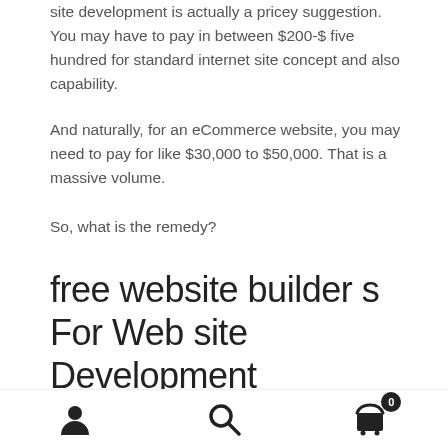site development is actually a pricey suggestion. You may have to pay in between $200-$ five hundred for standard internet site concept and also capability.
And naturally, for an eCommerce website, you may need to pay for like $30,000 to $50,000. That is a massive volume.
So, what is the remedy?
free website builder s For Web site Development
free website builder s for site growthis the remedy I'
navigation icons: user, search, cart (0)